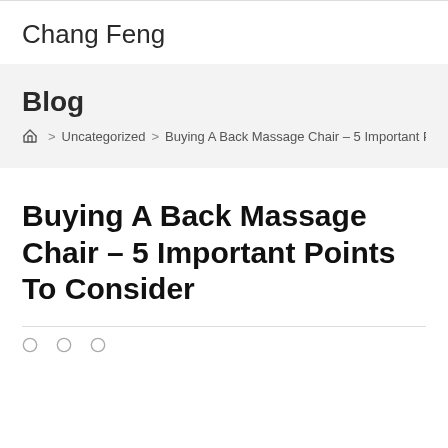Chang Feng
Blog
Home > Uncategorized > Buying A Back Massage Chair – 5 Important P…
Buying A Back Massage Chair – 5 Important Points To Consider